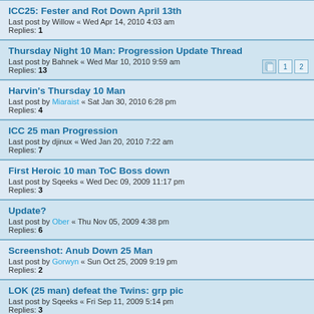ICC25: Fester and Rot Down April 13th
Last post by Willow « Wed Apr 14, 2010 4:03 am
Replies: 1
Thursday Night 10 Man: Progression Update Thread
Last post by Bahnek « Wed Mar 10, 2010 9:59 am
Replies: 13
Harvin's Thursday 10 Man
Last post by Miaraist « Sat Jan 30, 2010 6:28 pm
Replies: 4
ICC 25 man Progression
Last post by djinux « Wed Jan 20, 2010 7:22 am
Replies: 7
First Heroic 10 man ToC Boss down
Last post by Sqeeks « Wed Dec 09, 2009 11:17 pm
Replies: 3
Update?
Last post by Ober « Thu Nov 05, 2009 4:38 pm
Replies: 6
Screenshot: Anub Down 25 Man
Last post by Gorwyn « Sun Oct 25, 2009 9:19 pm
Replies: 2
LOK (25 man) defeat the Twins: grp pic
Last post by Sqeeks « Fri Sep 11, 2009 5:14 pm
Replies: 3
25 man ToC first kills
Last post by Willow « Fri Sep 11, 2009 7:12 am